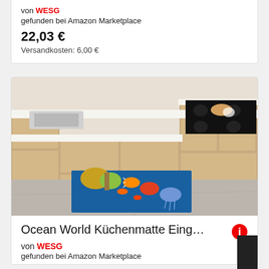von WESG
gefunden bei Amazon Marketplace
22,03 €
Versandkosten: 6,00 €
[Figure (photo): Kitchen scene showing an L-shaped kitchen with wood-panel cabinets and a decorative floor mat printed with an ocean/coral reef scene featuring tropical fish and jellyfish in blue water.]
Ocean World Küchenmatte Eing…
von WESG
gefunden bei Amazon Marketplace